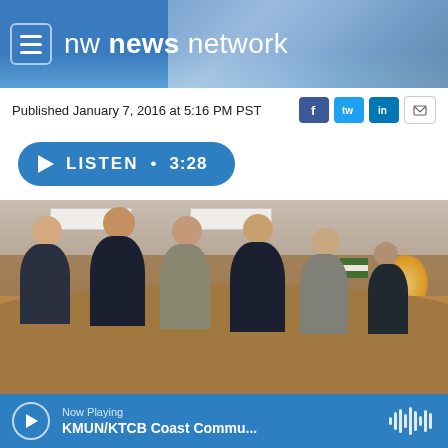[Figure (logo): NW News Network header with logo, menu icon, and mountain background]
Published January 7, 2016 at 5:16 PM PST
[Figure (other): Listen audio button showing LISTEN • 3:28]
[Figure (photo): Meeting room photo showing several people seated at a curved wooden council desk with wood-paneled walls]
Now Playing KMUN/KTCB Coast Commu...